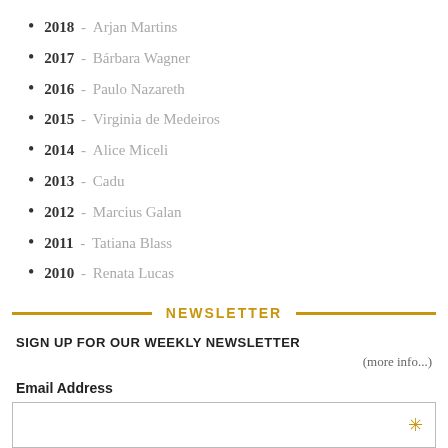2018 - Arjan Martins
2017 - Bárbara Wagner
2016 - Paulo Nazareth
2015 - Virginia de Medeiros
2014 - Alice Miceli
2013 - Cadu
2012 - Marcius Galan
2011 - Tatiana Blass
2010 - Renata Lucas
NEWSLETTER
SIGN UP FOR OUR WEEKLY NEWSLETTER
(more info...)
Email Address